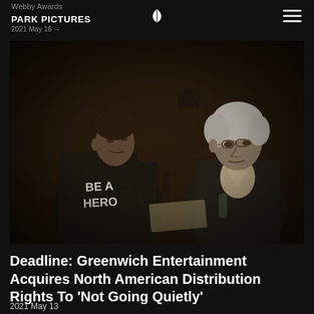PARK PICTURES · 2021 May 16
[Figure (photo): Black and white photo of two men in conversation. Man on left wears a 'BE A HERO' t-shirt; man on right is an older gentleman with glasses and white hair. A third person is visible in the background holding a camera.]
Deadline: Greenwich Entertainment Acquires North American Distribution Rights To 'Not Going Quietly'
2021 May 13